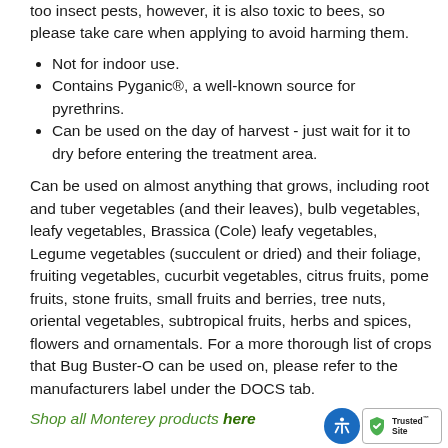too insect pests, however, it is also toxic to bees, so please take care when applying to avoid harming them.
Not for indoor use.
Contains Pyganic®, a well-known source for pyrethrins.
Can be used on the day of harvest - just wait for it to dry before entering the treatment area.
Can be used on almost anything that grows, including root and tuber vegetables (and their leaves), bulb vegetables, leafy vegetables, Brassica (Cole) leafy vegetables, Legume vegetables (succulent or dried) and their foliage, fruiting vegetables, cucurbit vegetables, citrus fruits, pome fruits, stone fruits, small fruits and berries, tree nuts, oriental vegetables, subtropical fruits, herbs and spices, flowers and ornamentals. For a more thorough list of crops that Bug Buster-O can be used on, please refer to the manufacturers label under the DOCS tab.
Shop all Monterey products here